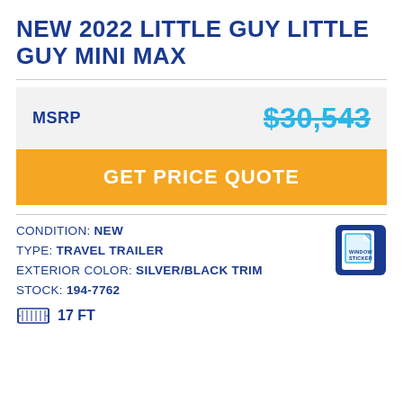NEW 2022 LITTLE GUY LITTLE GUY MINI MAX
| MSRP | Price |
| --- | --- |
| MSRP | $30,543 |
GET PRICE QUOTE
CONDITION: NEW
TYPE: TRAVEL TRAILER
EXTERIOR COLOR: SILVER/BLACK TRIM
STOCK: 194-7762
17 FT